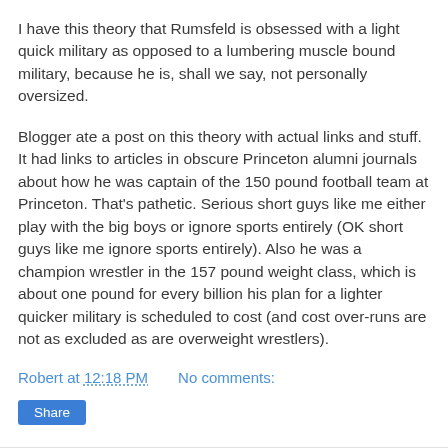I have this theory that Rumsfeld is obsessed with a light quick military as opposed to a lumbering muscle bound military, because he is, shall we say, not personally oversized.
Blogger ate a post on this theory with actual links and stuff. It had links to articles in obscure Princeton alumni journals about how he was captain of the 150 pound football team at Princeton. That's pathetic. Serious short guys like me either play with the big boys or ignore sports entirely (OK short guys like me ignore sports entirely). Also he was a champion wrestler in the 157 pound weight class, which is about one pound for every billion his plan for a lighter quicker military is scheduled to cost (and cost over-runs are not as excluded as are overweight wrestlers).
Robert at 12:18 PM    No comments:
Share